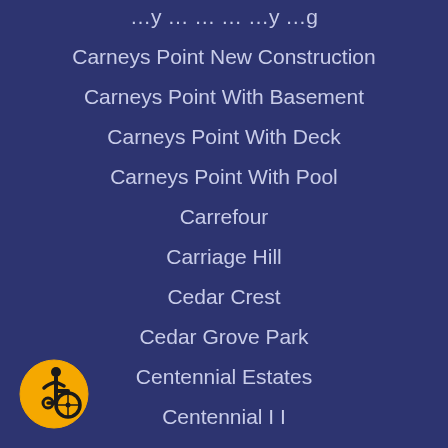Carneys Point New Construction
Carneys Point With Basement
Carneys Point With Deck
Carneys Point With Pool
Carrefour
Carriage Hill
Cedar Crest
Cedar Grove Park
Centennial Estates
Centennial I I
Centennial Woods
Center City
Centre City
Centura
Centura/Cotswold
Chanticleer
[Figure (illustration): Accessibility icon — yellow circle with black wheelchair user symbol]